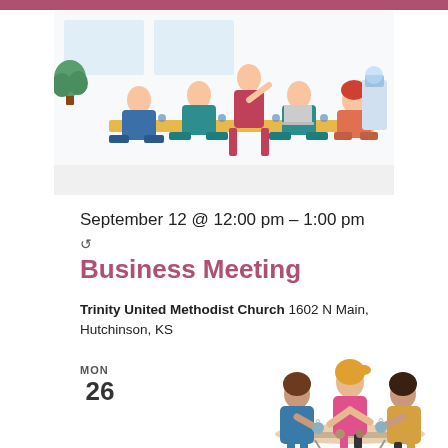[Figure (illustration): Office meeting illustration showing people seated around a table with one person standing presenting, water cooler in background]
September 12 @ 12:00 pm - 1:00 pm
Business Meeting
Trinity United Methodist Church 1602 N Main, Hutchinson, KS
MON 26
[Figure (illustration): Three women sitting at a cafe table having coffee]